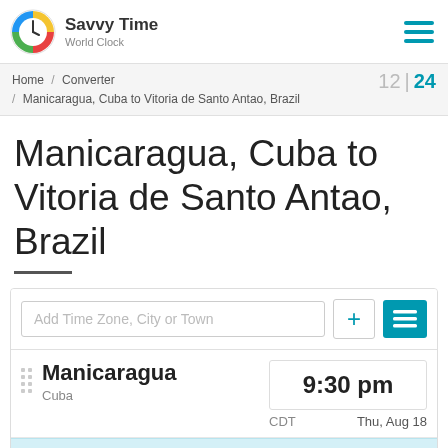Savvy Time World Clock
Home / Converter / Manicaragua, Cuba to Vitoria de Santo Antao, Brazil  12 | 24
Manicaragua, Cuba to Vitoria de Santo Antao, Brazil
Add Time Zone, City or Town
Manicaragua  Cuba  9:30 pm  CDT  Thu, Aug 18